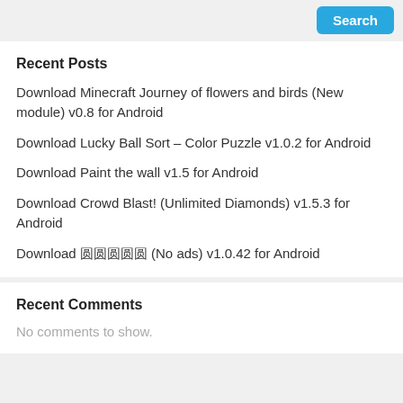Search
Recent Posts
Download Minecraft Journey of flowers and birds (New module) v0.8 for Android
Download Lucky Ball Sort – Color Puzzle v1.0.2 for Android
Download Paint the wall v1.5 for Android
Download Crowd Blast! (Unlimited Diamonds) v1.5.3 for Android
Download 圆圆圆圆圆 (No ads) v1.0.42 for Android
Recent Comments
No comments to show.